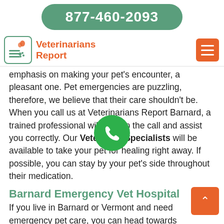877-460-2093
Veterinarians Report
emphasis on making your pet's encounter, a pleasant one. Pet emergencies are puzzling, therefore, we believe that their care shouldn't be. When you call us at Veterinarians Report Barnard, a trained professional will pick up the call and assist you correctly. Our Veterinary Specialists will be available to take your pet for healing right away. If possible, you can stay by your pet's side throughout their medication.
Barnard Emergency Vet Hospital
If you live in Barnard or Vermont and need emergency pet care, you can head towards